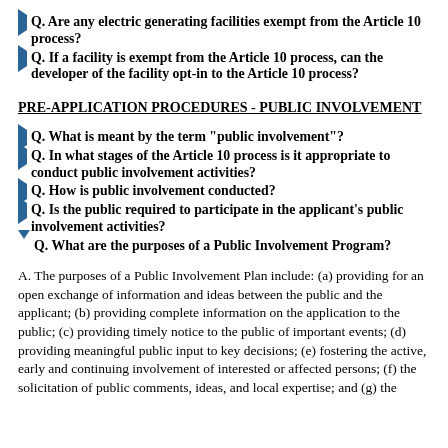Q. Are any electric generating facilities exempt from the Article 10 process?
Q. If a facility is exempt from the Article 10 process, can the developer of the facility opt-in to the Article 10 process?
PRE-APPLICATION PROCEDURES - PUBLIC INVOLVEMENT
Q. What is meant by the term "public involvement"?
Q. In what stages of the Article 10 process is it appropriate to conduct public involvement activities?
Q. How is public involvement conducted?
Q. Is the public required to participate in the applicant's public involvement activities?
Q. What are the purposes of a Public Involvement Program?
A. The purposes of a Public Involvement Plan include: (a) providing for an open exchange of information and ideas between the public and the applicant; (b) providing complete information on the application to the public; (c) providing timely notice to the public of important events; (d) providing meaningful public input to key decisions; (e) fostering the active, early and continuing involvement of interested or affected persons; (f) the solicitation of public comments, ideas, and local expertise; and (g) the